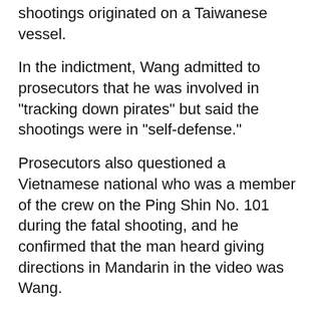shootings originated on a Taiwanese vessel.
In the indictment, Wang admitted to prosecutors that he was involved in "tracking down pirates" but said the shootings were in "self-defense."
Prosecutors also questioned a Vietnamese national who was a member of the crew on the Ping Shin No. 101 during the fatal shooting, and he confirmed that the man heard giving directions in Mandarin in the video was Wang.
According to Thursday's court release, Wang was employed by the Kaohsiung-based Ping Shin Fishery Co. to work on the Ping Shin No. 101 from June 15, 2011 to June 15, 2014.